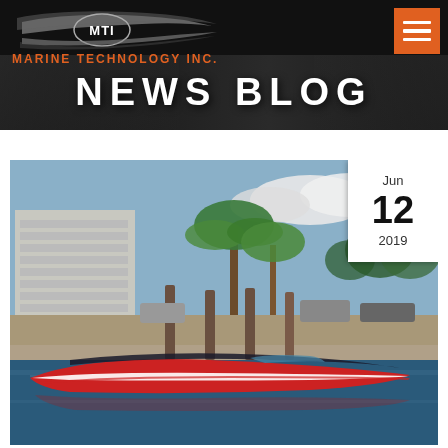MARINE TECHNOLOGY INC. — News Blog
NEWS BLOG
[Figure (photo): A red and white high-performance speedboat docked at a marina with palm trees and buildings in the background. Date badge shows Jun 12 2019.]